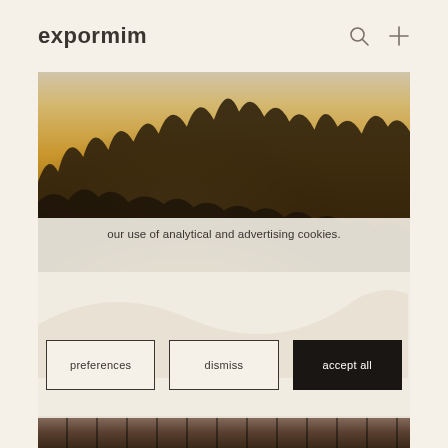expormim
[Figure (photo): Outdoor sunset photo with silhouetted trees against a warm golden-orange sky]
our use of analytical and advertising cookies.
[Figure (photo): Bottom strip showing outdoor furniture/terrace scene in dark tones]